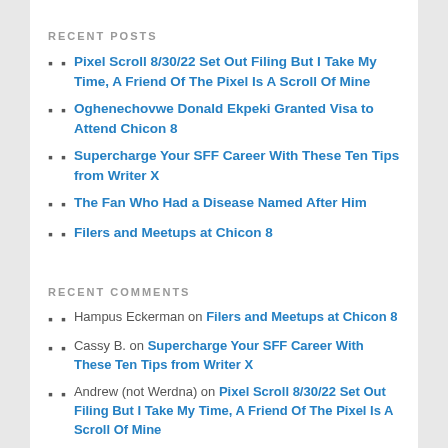RECENT POSTS
Pixel Scroll 8/30/22 Set Out Filing But I Take My Time, A Friend Of The Pixel Is A Scroll Of Mine
Oghenechovwe Donald Ekpeki Granted Visa to Attend Chicon 8
Supercharge Your SFF Career With These Ten Tips from Writer X
The Fan Who Had a Disease Named After Him
Filers and Meetups at Chicon 8
RECENT COMMENTS
Hampus Eckerman on Filers and Meetups at Chicon 8
Cassy B. on Supercharge Your SFF Career With These Ten Tips from Writer X
Andrew (not Werdna) on Pixel Scroll 8/30/22 Set Out Filing But I Take My Time, A Friend Of The Pixel Is A Scroll Of Mine
Andrew (not Werdna) on Pixel Scroll 8/30/22 Set Out Filing But I Take My Time, A Friend Of The Pixel Is A Scroll Of Mine